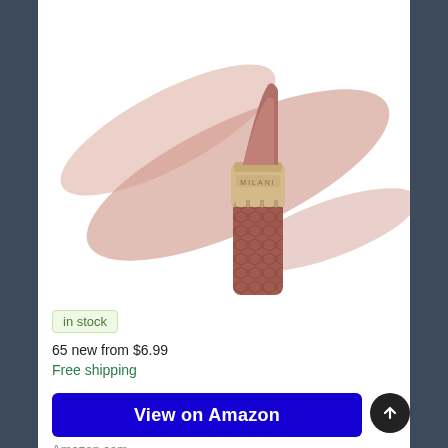[Figure (photo): Product photo of a mauve/rose-colored lipstick with gold cap and honeycomb-textured barrel, with a smear of the same color behind it on a white background]
in stock
65 new from $6.99
Free shipping
View on Amazon
Amazon.com